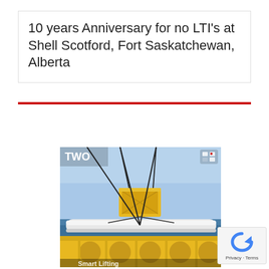10 years Anniversary for no LTI's at Shell Scotford, Fort Saskatchewan, Alberta
[Figure (photo): Industrial heavy lift operation offshore showing a yellow offshore platform structure with circular cutouts, a white horizontal beam/pipe being lifted by crane cables, a yellow equipment cage/container suspended from the crane, with ocean horizon in background. TWO logo visible in top-left corner of image. Partial text 'Smart Lifting' visible at bottom.]